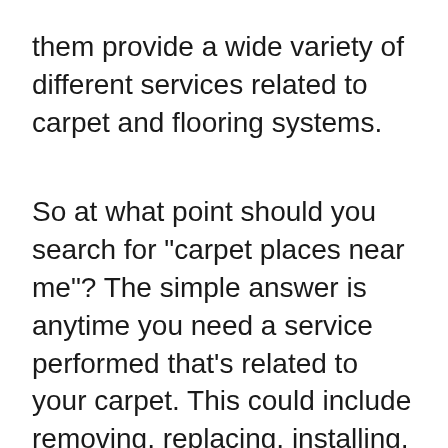them provide a wide variety of different services related to carpet and flooring systems.
So at what point should you search for "carpet places near me"? The simple answer is anytime you need a service performed that's related to your carpet. This could include removing, replacing, installing, or cleaning your carpet. Following is a closer look at some of those services and what they might include.
Why Choose Our